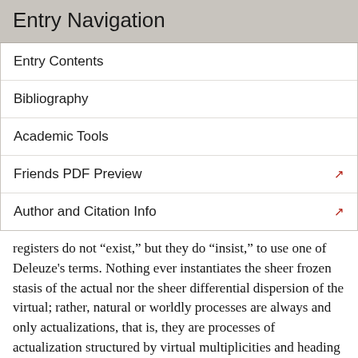Entry Navigation
Entry Contents
Bibliography
Academic Tools
Friends PDF Preview
Author and Citation Info
registers do not “exist,” but they do “insist,” to use one of Deleuze's terms. Nothing ever instantiates the sheer frozen stasis of the actual nor the sheer differential dispersion of the virtual; rather, natural or worldly processes are always and only actualizations, that is, they are processes of actualization structured by virtual multiplicities and heading toward an actual state they never quite attain. More precisely, systems also contain tendencies moving in the other direction, toward virtuality; systems are more or less stable sets of processes moving in different directions, toward actuality